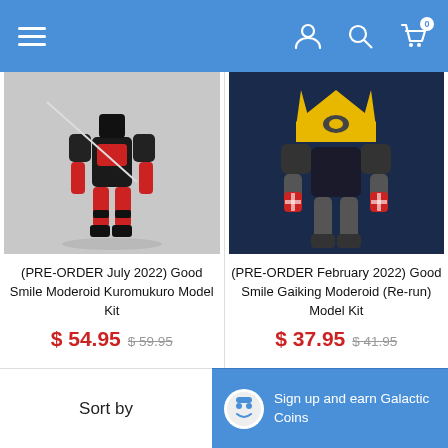Navigation header with hamburger menu and user/search/cart icons
[Figure (photo): Black and red anime mecha action figure posed dynamically on grey background]
(PRE-ORDER July 2022) Good Smile Moderoid Kuromukuro Model Kit
$ 54.95  $ 59.95
[Figure (photo): Yellow and red/black robot mecha figure on dark navy background]
(PRE-ORDER February 2022) Good Smile Gaiking Moderoid (Re-run) Model Kit
$ 37.95  $ 41.95
Sort by  |  Sign up and earn Galactic Coins